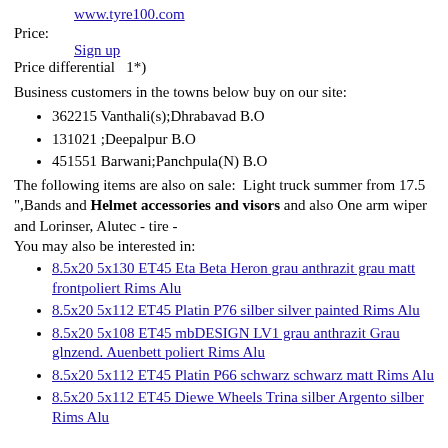www.tyre100.com
Price:
Sign up
Price differential   1*)
Business customers in the towns below buy on our site:
362215 Vanthali(s);Dhrabavad B.O
131021 ;Deepalpur B.O
451551 Barwani;Panchpula(N) B.O
The following items are also on sale:  Light truck summer from 17.5 ",Bands and Helmet accessories and visors and also One arm wiper and Lorinser, Alutec - tire -
You may also be interested in:
8.5x20 5x130 ET45 Eta Beta Heron grau anthrazit grau matt frontpoliert Rims Alu
8.5x20 5x112 ET45 Platin P76 silber silver painted Rims Alu
8.5x20 5x108 ET45 mbDESIGN LV1 grau anthrazit Grau glnzend. Auenbett poliert Rims Alu
8.5x20 5x112 ET45 Platin P66 schwarz schwarz matt Rims Alu
8.5x20 5x112 ET45 Diewe Wheels Trina silber Argento silber Rims Alu